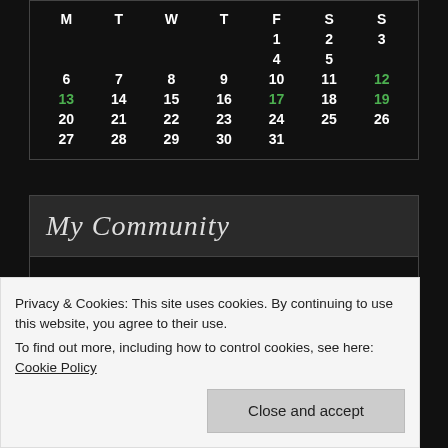| M | T | W | T | F | S | S |
| --- | --- | --- | --- | --- | --- | --- |
|  |  |  |  | 1 | 2 | 3 | 4 | 5 |
| 6 | 7 | 8 | 9 | 10 | 11 | 12 |
| 13 | 14 | 15 | 16 | 17 | 18 | 19 |
| 20 | 21 | 22 | 23 | 24 | 25 | 26 |
| 27 | 28 | 29 | 30 | 31 |  |  |
My Community
Oh Happy Day!
[Figure (photo): Colorful abstract artwork with red, green, and multicolored swirling shapes]
Privacy & Cookies: This site uses cookies. By continuing to use this website, you agree to their use.
To find out more, including how to control cookies, see here: Cookie Policy
Close and accept